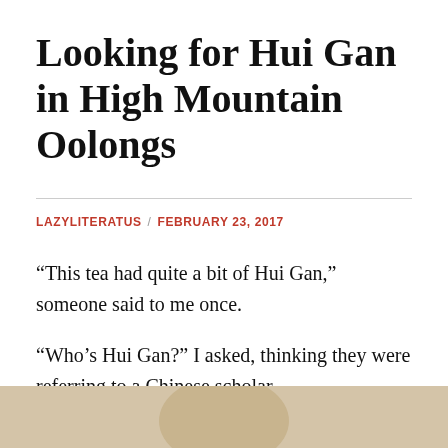Looking for Hui Gan in High Mountain Oolongs
LAZYLITERATUS / FEBRUARY 23, 2017
“This tea had quite a bit of Hui Gan,” someone said to me once.
“Who’s Hui Gan?” I asked, thinking they were referring to a Chinese scholar.
[Figure (photo): Partial circular object, likely a tea bowl or disc, showing a beige/tan surface against a light background, cropped at the bottom of the page.]